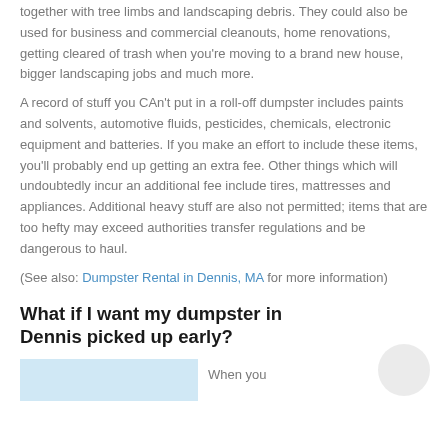together with tree limbs and landscaping debris. They could also be used for business and commercial cleanouts, home renovations, getting cleared of trash when you're moving to a brand new house, bigger landscaping jobs and much more.
A record of stuff you CAn't put in a roll-off dumpster includes paints and solvents, automotive fluids, pesticides, chemicals, electronic equipment and batteries. If you make an effort to include these items, you'll probably end up getting an extra fee. Other things which will undoubtedly incur an additional fee include tires, mattresses and appliances. Additional heavy stuff are also not permitted; items that are too hefty may exceed authorities transfer regulations and be dangerous to haul.
(See also: Dumpster Rental in Dennis, MA for more information)
What if I want my dumpster in Dennis picked up early?
When you